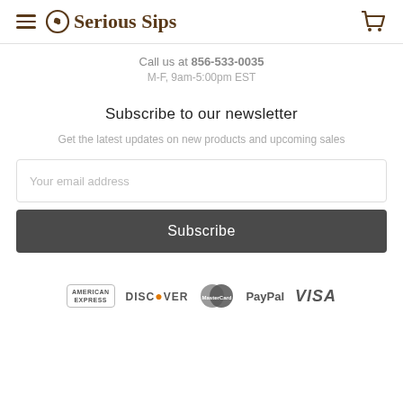Serious Sips
Call us at 856-533-0035
M-F, 9am-5:00pm EST
Subscribe to our newsletter
Get the latest updates on new products and upcoming sales
Your email address
Subscribe
[Figure (other): Payment method logos: American Express, Discover, MasterCard, PayPal, Visa]